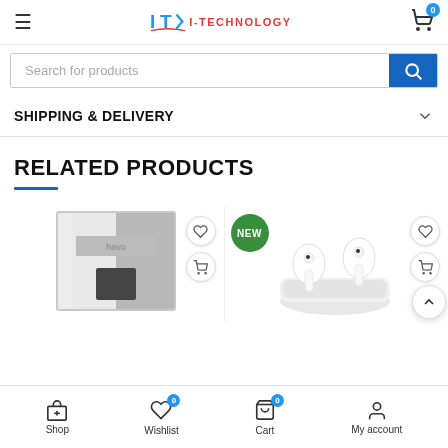i-TECHNOLOGY
Search for products
SHIPPING & DELIVERY
RELATED PRODUCTS
[Figure (screenshot): Product card showing a silver box product with wishlist and cart icons]
[Figure (screenshot): Product card showing white Apple AirPods with NEW badge, wishlist and cart icons]
Shop | Wishlist (0) | Cart (0) | My account